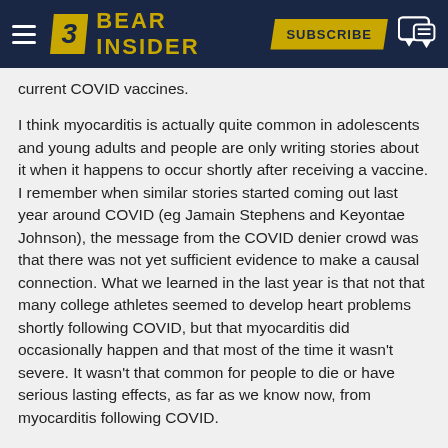BEAR INSIDER — SUBSCRIBE
current COVID vaccines.
I think myocarditis is actually quite common in adolescents and young adults and people are only writing stories about it when it happens to occur shortly after receiving a vaccine. I remember when similar stories started coming out last year around COVID (eg Jamain Stephens and Keyontae Johnson), the message from the COVID denier crowd was that there was not yet sufficient evidence to make a causal connection. What we learned in the last year is that not that many college athletes seemed to develop heart problems shortly following COVID, but that myocarditis did occasionally happen and that most of the time it wasn't severe. It wasn't that common for people to die or have serious lasting effects, as far as we know now, from myocarditis following COVID.
So, I guess I would say that I think there's a chance that the MRNA vaccines are causing myocarditis and there is a chance that it's a serious concern, but there is also a chance that it's just a correlation or that there is causation but that it's not a serious concern because myocarditis is generally mild and clears up in a few weeks. You haven't provided any information to show that myocarditis is a reason that people should fear the MRNA vaccines, particularly given the risk of